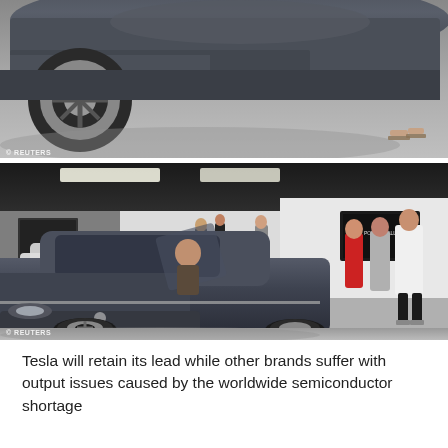[Figure (photo): Top photo showing a close-up of a Tesla car (silver/dark) from above-front angle on a gray showroom floor, with a person's feet visible at right. Reuters watermark at bottom left.]
[Figure (photo): Bottom photo showing a Tesla showroom interior with a dark gray Tesla Model 3 in foreground, a red Tesla in background, several visitors looking at the cars. Showroom has dark ceiling, white walls with signage including 'Powerwall'. Reuters watermark at bottom left.]
Tesla will retain its lead while other brands suffer with output issues caused by the worldwide semiconductor shortage